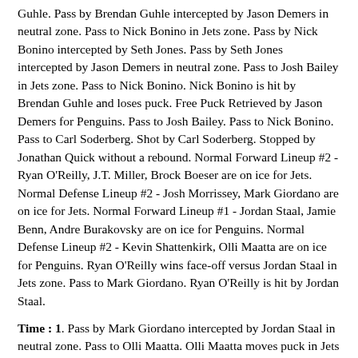Guhle. Pass by Brendan Guhle intercepted by Jason Demers in neutral zone. Pass to Nick Bonino in Jets zone. Pass by Nick Bonino intercepted by Seth Jones. Pass by Seth Jones intercepted by Jason Demers in neutral zone. Pass to Josh Bailey in Jets zone. Pass to Nick Bonino. Nick Bonino is hit by Brendan Guhle and loses puck. Free Puck Retrieved by Jason Demers for Penguins. Pass to Josh Bailey. Pass to Nick Bonino. Pass to Carl Soderberg. Shot by Carl Soderberg. Stopped by Jonathan Quick without a rebound. Normal Forward Lineup #2 - Ryan O'Reilly, J.T. Miller, Brock Boeser are on ice for Jets. Normal Defense Lineup #2 - Josh Morrissey, Mark Giordano are on ice for Jets. Normal Forward Lineup #1 - Jordan Staal, Jamie Benn, Andre Burakovsky are on ice for Penguins. Normal Defense Lineup #2 - Kevin Shattenkirk, Olli Maatta are on ice for Penguins. Ryan O'Reilly wins face-off versus Jordan Staal in Jets zone. Pass to Mark Giordano. Ryan O'Reilly is hit by Jordan Staal.
Time : 1. Pass by Mark Giordano intercepted by Jordan Staal in neutral zone. Pass to Olli Maatta. Olli Maatta moves puck in Jets zone. Pass to Jamie Benn. Pass to Kevin Shattenkirk. Pass to Jamie Benn. Pass to Jordan Staal. Jordan Staal is hit by Mark Giordano and loses puck. Free Puck Retrieved by Olli Maatta for Penguins. Pass to Jamie Benn. Pass by Jamie Benn intercepted by Ryan O'Reilly. Icing by Ryan O'Reilly. Normal Forward Lineup #3 - Filip Chytil, Lucas Wallmark, Filip Zadina are on ice for Penguins.